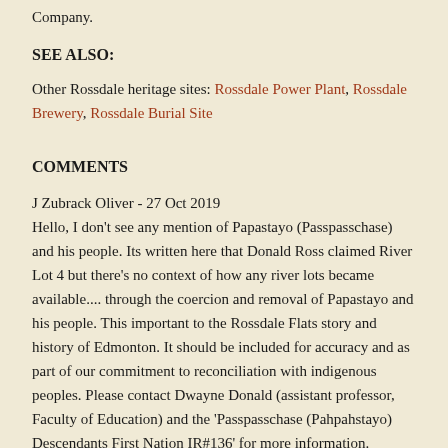Company.
SEE ALSO:
Other Rossdale heritage sites: Rossdale Power Plant, Rossdale Brewery, Rossdale Burial Site
COMMENTS
J Zubrack Oliver - 27 Oct 2019
Hello, I don't see any mention of Papastayo (Passpasschase) and his people. Its written here that Donald Ross claimed River Lot 4 but there's no context of how any river lots became available.... through the coercion and removal of Papastayo and his people. This important to the Rossdale Flats story and history of Edmonton. It should be included for accuracy and as part of our commitment to reconciliation with indigenous peoples. Please contact Dwayne Donald (assistant professor, Faculty of Education) and the 'Passpasschase (Pahpahstayo) Descendants First Nation IR#136' for more information.